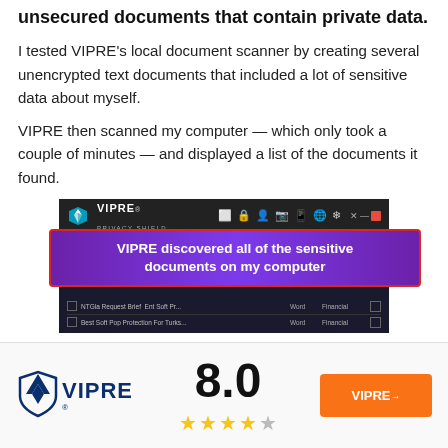VIPRE's Privacy Shield also scans for unsecured documents that contain private data.
I tested VIPRE's local document scanner by creating several unencrypted text documents that included a lot of sensitive data about myself.
VIPRE then scanned my computer — which only took a couple of minutes — and displayed a list of the documents it found.
[Figure (screenshot): Screenshot of VIPRE Privacy Shield application showing a list of discovered sensitive documents. A purple banner overlaid on the screenshot reads: VIPRE discovered all of the sensitive documents on my computer]
[Figure (logo): VIPRE logo in dark blue/navy with checkmark V icon]
8.0
[Figure (infographic): 4 filled gold stars and 1 empty grey star rating]
[Figure (other): Orange button with VIPRE text and arrow]